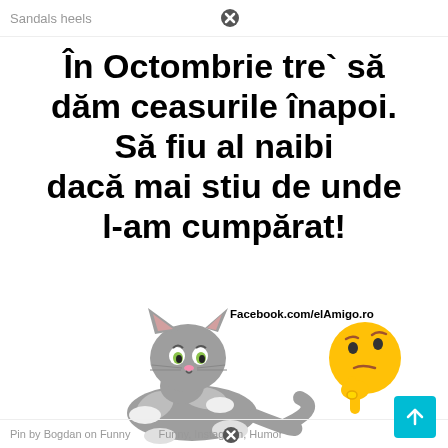Sandals heels
În Octombrie tre` să dăm ceasurile înapoi. Să fiu al naibi dacă mai stiu de unde l-am cumpărat!
[Figure (illustration): Tom cat cartoon character lying on the floor looking confused/thinking, with a thinking emoji face (yellow face with raised eyebrow and hand on chin) to the right. Facebook.com/elAmigo.ro text label above.]
Facebook.com/elAmigo.ro
Pin by Bogdan on Funny · Funny, Instagram, Humor